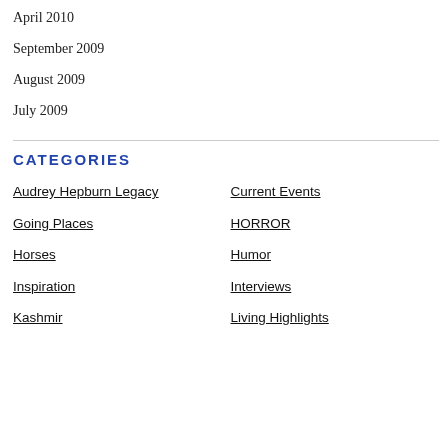April 2010
September 2009
August 2009
July 2009
CATEGORIES
Audrey Hepburn Legacy
Current Events
Going Places
HORROR
Horses
Humor
Inspiration
Interviews
Kashmir
Living Highlights